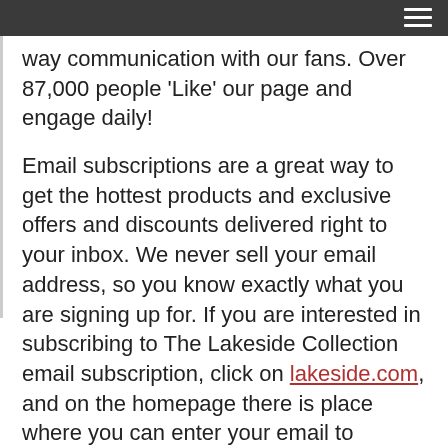way communication with our fans. Over 87,000 people 'Like' our page and engage daily!
Email subscriptions are a great way to get the hottest products and exclusive offers and discounts delivered right to your inbox. We never sell your email address, so you know exactly what you are signing up for. If you are interested in subscribing to The Lakeside Collection email subscription, click on lakeside.com, and on the homepage there is place where you can enter your email to subscribe.
Place an Order
The Lakeside Collection offers great products at a tremendous value every day. You can find these products in the pages of our catalog or on-line at lakeside.com. To request a free catalog be delivered